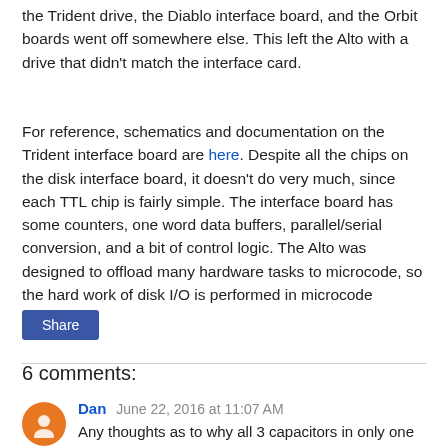the Trident drive, the Diablo interface board, and the Orbit boards went off somewhere else. This left the Alto with a drive that didn't match the interface card.
For reference, schematics and documentation on the Trident interface board are here. Despite all the chips on the disk interface board, it doesn't do very much, since each TTL chip is fairly simple. The interface board has some counters, one word data buffers, parallel/serial conversion, and a bit of control logic. The Alto was designed to offload many hardware tasks to microcode, so the hard work of disk I/O is performed in microcode (software).
Share
6 comments:
Dan June 22, 2016 at 11:07 AM
Any thoughts as to why all 3 capacitors in only one power supply had gone bad, while the other supplies were still